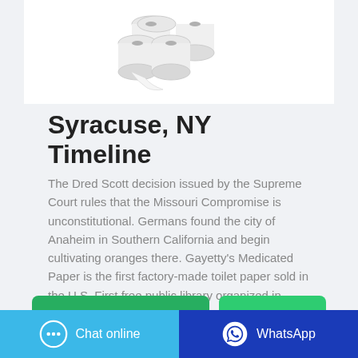[Figure (photo): Rolls of toilet paper stacked, product image on white background]
Syracuse, NY Timeline
The Dred Scott decision issued by the Supreme Court rules that the Missouri Compromise is unconstitutional. Germans found the city of Anaheim in Southern California and begin cultivating oranges there. Gayetty's Medicated Paper is the first factory-made toilet paper sold in the U.S. First free public library organized in Syracuse.
CONTACT THE MANUFACTURER
WHATSAPP
Chat online
WhatsApp